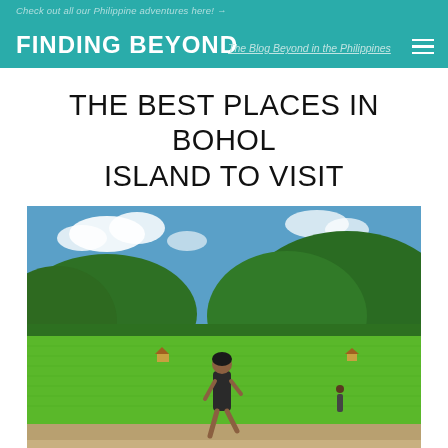Check out all our Philippine adventures here! — FINDING BEYOND — The Blog Beyond in the Philippines
THE BEST PLACES IN BOHOL ISLAND TO VISIT
[Figure (photo): Woman walking barefoot along a dirt path through bright green rice paddies with lush green forested hills in the background under a partly cloudy blue sky, Loboc, Bohol Island, Philippines]
Shelley taking a stroll in Loboc, Bohol Island.